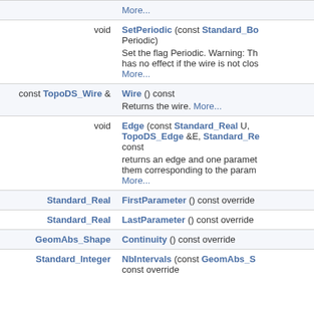| Return type | Function signature / description |
| --- | --- |
|  | More... |
| void | SetPeriodic (const Standard_Bo Periodic)
Set the flag Periodic. Warning: Th has no effect if the wire is not clos More... |
| const TopoDS_Wire & | Wire () const
Returns the wire. More... |
| void | Edge (const Standard_Real U, TopoDS_Edge &E, Standard_Re const
returns an edge and one paramet them corresponding to the param More... |
| Standard_Real | FirstParameter () const override |
| Standard_Real | LastParameter () const override |
| GeomAbs_Shape | Continuity () const override |
| Standard_Integer | NbIntervals (const GeomAbs_S const override |